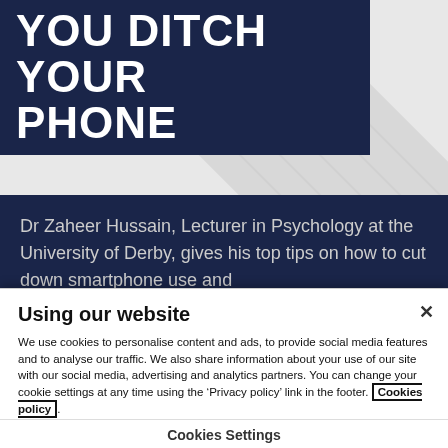YOU DITCH YOUR PHONE
Dr Zaheer Hussain, Lecturer in Psychology at the University of Derby, gives his top tips on how to cut down smartphone use and
Using our website
We use cookies to personalise content and ads, to provide social media features and to analyse our traffic. We also share information about your use of our site with our social media, advertising and analytics partners. You can change your cookie settings at any time using the ‘Privacy policy’ link in the footer. Cookies policy.
Cookies Settings